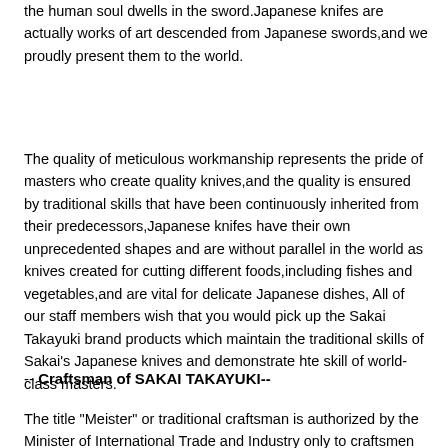the human soul dwells in the sword.Japanese knifes are actually works of art descended from Japanese swords,and we proudly present them to the world.
The quality of meticulous workmanship represents the pride of masters who create quality knives,and the quality is ensured by traditional skills that have been continuously inherited from their predecessors,Japanese knifes have their own unprecedented shapes and are without parallel in the world as knives created for cutting different foods,including fishes and vegetables,and are vital for delicate Japanese dishes, All of our staff members wish that you would pick up the Sakai Takayuki brand products which maintain the traditional skills of Sakai's Japanese knives and demonstrate hte skill of world-class masters.
-- Craftsman of SAKAI TAKAYUKI--
The title "Meister" or traditional craftsman is authorized by the Minister of International Trade and Industry only to craftsmen who have inherited and improved their skills over a long period of time in